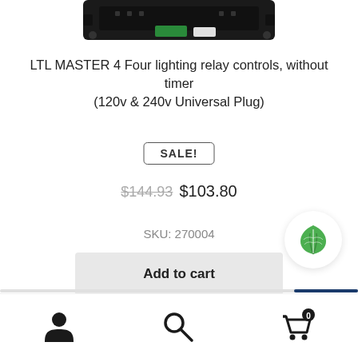[Figure (photo): Partial view of electronic relay control device, dark colored hardware component visible at top of page]
LTL MASTER 4 Four lighting relay controls, without timer (120v & 240v Universal Plug)
SALE!
$144.93 $103.80
SKU: 270004
Add to cart
[Figure (logo): Green leaf eco/plant badge icon in circular white button]
[Figure (infographic): Bottom navigation bar with user account icon, search icon, and shopping cart icon with 0 badge]